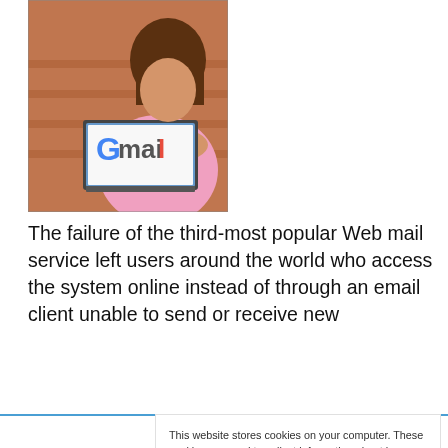[Figure (photo): A person using a laptop with Gmail open on the screen, sitting outdoors on steps.]
The failure of the third-most popular Web mail service left users around the world who access the system online instead of through an email client unable to send or receive new
This website stores cookies on your computer. These cookies are used to collect information about how you interact with our website and allow us to remember you. We use this information in order to improve and customize your browsing experience and for analytics and metrics about our visitors both on this website and other media. To find out more about the cookies we use, see our Privacy Policy. California residents have the right to direct us not to sell their personal information to third parties by filing an Opt-Out Request: Do Not Sell My Personal Info.
Accept